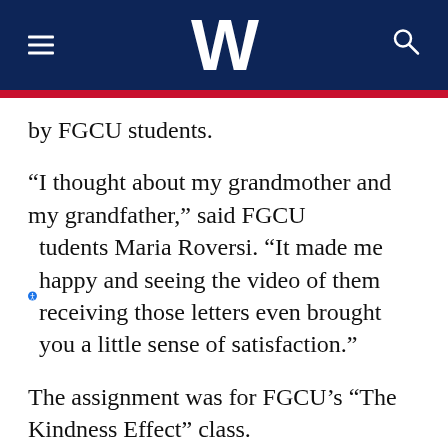W
by FGCU students.
“I thought about my grandmother and my grandfather,” said FGCU students Maria Roversi. “It made me happy and seeing the video of them receiving those letters even brought you a little sense of satisfaction.”
The assignment was for FGCU’s “The Kindness Effect” class.
“This class is learning about